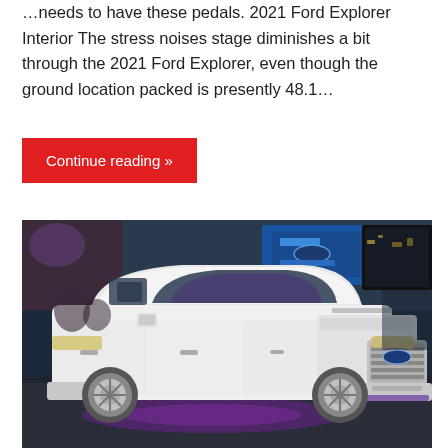...needs to have these pedals. 2021 Ford Explorer Interior The stress noises stage diminishes a bit through the 2021 Ford Explorer, even though the ground location packed is presently 48.1...
Continue reading »
[Figure (photo): White Ford F-150 Limited pickup truck at a motor show, with Ford Blue Oval signage visible in the background and purple lighting under the vehicle.]